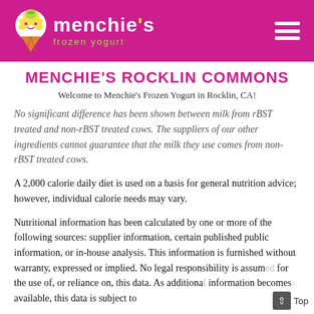Menchie's Frozen Yogurt — header bar with logo and navigation
MENCHIE'S ROCKLIN COMMONS
Welcome to Menchie's Frozen Yogurt in Rocklin, CA!
No significant difference has been shown between milk from rBST treated and non-rBST treated cows. The suppliers of our other ingredients cannot guarantee that the milk they use comes from non-rBST treated cows.
A 2,000 calorie daily diet is used on a basis for general nutrition advice; however, individual calorie needs may vary.
Nutritional information has been calculated by one or more of the following sources: supplier information, certain published public information, or in-house analysis. This information is furnished without warranty, expressed or implied. No legal responsibility is assumed for the use of, or reliance on, this data. As additional information becomes available, this data is subject to